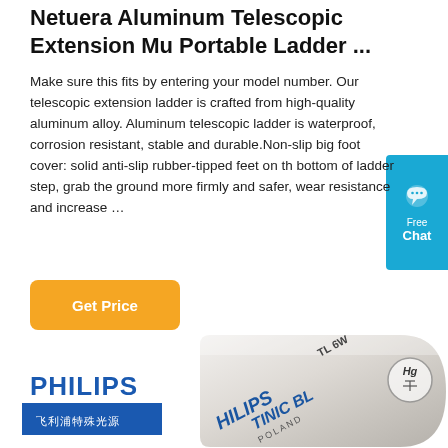Netuera Aluminum Telescopic Extension Mu Portable Ladder ...
Make sure this fits by entering your model number. Our telescopic extension ladder is crafted from high-quality aluminum alloy. Aluminum telescopic ladder is waterproof, corrosion resistant, stable and durable.Non-slip big foot cover: solid anti-slip rubber-tipped feet on the bottom of ladder step, grab the ground more firmly and safer, wear resistance and increase …
[Figure (other): Orange 'Get Price' button]
[Figure (logo): Philips logo with Chinese text 飞利浦特殊光源 on blue background]
[Figure (photo): Close-up photo of a Philips TL 6W TINIC BL fluorescent tube made in Poland, showing the Hg mercury symbol]
[Figure (other): Blue chat widget on the right side with speech bubble icon and 'Free Chat' label]